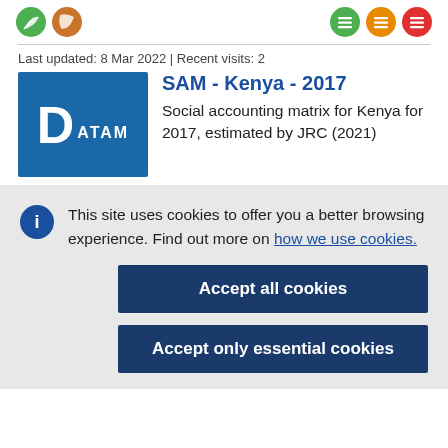Icons and navigation header
Last updated: 8 Mar 2022 | Recent visits: 2
SAM - Kenya - 2017
Social accounting matrix for Kenya for 2017, estimated by JRC (2021)
This site uses cookies to offer you a better browsing experience. Find out more on how we use cookies.
Accept all cookies
Accept only essential cookies